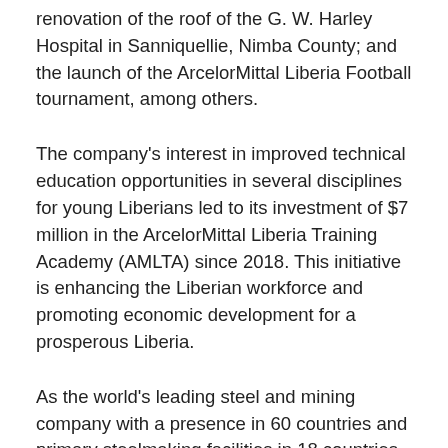renovation of the roof of the G. W. Harley Hospital in Sanniquellie, Nimba County; and the launch of the ArcelorMittal Liberia Football tournament, among others.
The company's interest in improved technical education opportunities in several disciplines for young Liberians led to its investment of $7 million in the ArcelorMittal Liberia Training Academy (AMLTA) since 2018. This initiative is enhancing the Liberian workforce and promoting economic development for a prosperous Liberia.
As the world's leading steel and mining company with a presence in 60 countries and primary steelmaking facilities in 18 countries, we applaud the latest joint initiative by ArcelorMittal and the Liberian Government for this expansion project which would not only triple iron ore production in Liberia but also correspondingly increase Government's